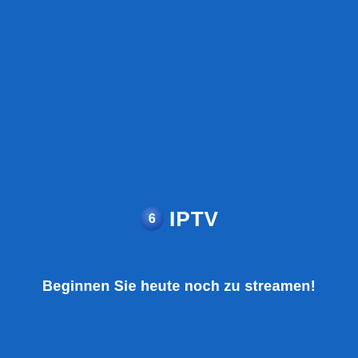[Figure (logo): 6 IPTV logo: a blue circular badge with the number 6 in white, followed by the text IPTV in white bold letters on a blue background]
Beginnen Sie heute noch zu streamen!